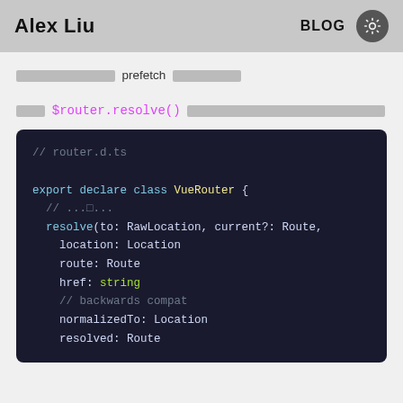Alex Liu   BLOG
[placeholder text] prefetch [placeholder text]
[placeholder] $router.resolve() [placeholder long text]
[Figure (screenshot): Code snippet showing TypeScript declaration for VueRouter class with resolve method, location, route, href, normalizedTo, resolved properties]